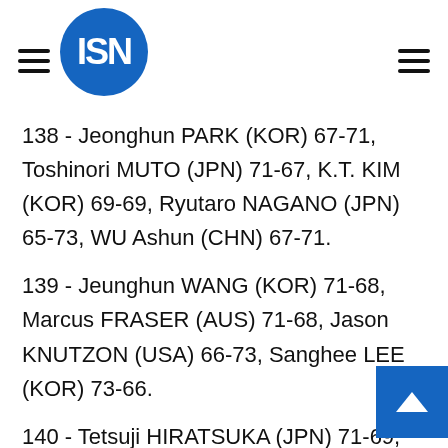ISN
138 - Jeonghun PARK (KOR) 67-71, Toshinori MUTO (JPN) 71-67, K.T. KIM (KOR) 69-69, Ryutaro NAGANO (JPN) 65-73, WU Ashun (CHN) 67-71.
139 - Jeunghun WANG (KOR) 71-68, Marcus FRASER (AUS) 71-68, Jason KNUTZON (USA) 66-73, Sanghee LEE (KOR) 73-66.
140 - Tetsuji HIRATSUKA (JPN) 71-69, LU Wei-chih (TPE) 72-68, Michio MATSUMURA (JPN) 71-69, Yuta IKEDA (JPN) 67-73, Chinnarat PHADUNL (THA) 73-67, Thanyakon KHRONGPHA (THA) 72-68, Kenichiro YAMASHITA (JPN) 68-72.